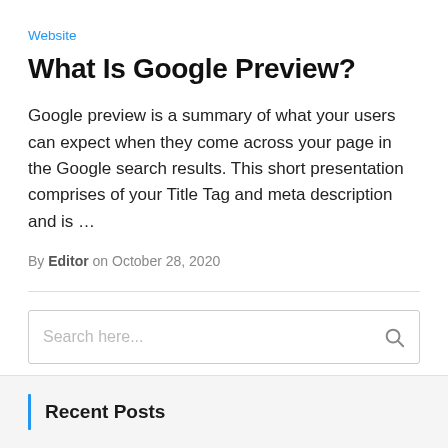Website
What Is Google Preview?
Google preview is a summary of what your users can expect when they come across your page in the Google search results. This short presentation comprises of your Title Tag and meta description and is …
By Editor on October 28, 2020
Search here...
Recent Posts